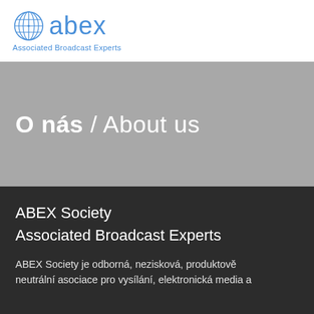[Figure (logo): ABEX Associated Broadcast Experts logo with globe icon and blue text]
O nás / About us
ABEX Society
Associated Broadcast Experts
ABEX Society je odborná, nezisková, produktově neutrální asociace pro vysílání, elektronická media a